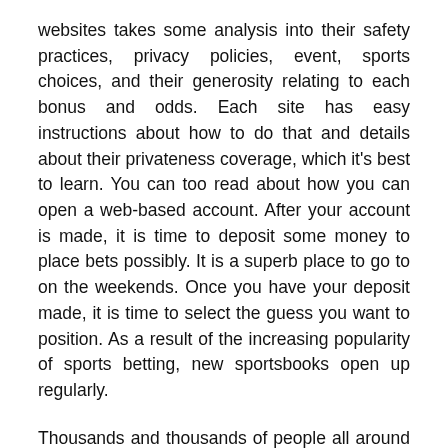websites takes some analysis into their safety practices, privacy policies, event, sports choices, and their generosity relating to each bonus and odds. Each site has easy instructions about how to do that and details about their privateness coverage, which it's best to learn. You can too read about how you can open a web-based account. After your account is made, it is time to deposit some money to place bets possibly. It is a superb place to go to on the weekends. Once you have your deposit made, it is time to select the guess you want to position. As a result of the increasing popularity of sports betting, new sportsbooks open up regularly.
Thousands and thousands of people all around the globe are collaborating in this exciting and rewarding passion with online sports activity betting. Things continued to go badly for the state, nevertheless, and it seemed as if New Jersey's quest for sports activities betting would fail. Under, now we have a listing of the very best betting sites out there in your space that